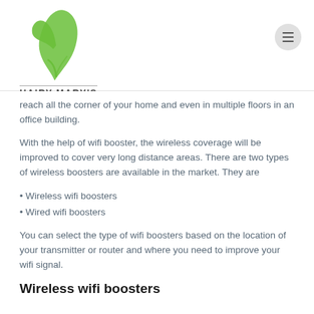HAIRY MARY'S
reach all the corner of your home and even in multiple floors in an office building.
With the help of wifi booster, the wireless coverage will be improved to cover very long distance areas. There are two types of wireless boosters are available in the market. They are
• Wireless wifi boosters
• Wired wifi boosters
You can select the type of wifi boosters based on the location of your transmitter or router and where you need to improve your wifi signal.
Wireless wifi boosters